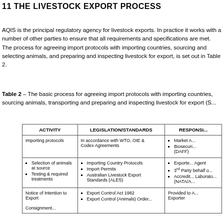11 THE LIVESTOCK EXPORT PROCESS
AQIS is the principal regulatory agency for livestock exports. In practice it works with a number of other parties to ensure that all requirements and specifications are met. The process for agreeing import protocols with importing countries, sourcing and selecting animals, and preparing and inspecting livestock for export, is set out in Table 2.
Table 2 – The basic process for agreeing import protocols with importing countries, sourcing animals, transporting and preparing and inspecting livestock for export (S...
| ACTIVITY | LEGISLATION/STANDARDS | RESPONSI... |
| --- | --- | --- |
| Importing protocols | In accordance with WTO, OIE & Codex Agreements | Market A...
Biosecuri... (DAFF) |
| Selection of animals at source
Testing & required treatments | Importing Country Protocols
Import Permits
Australian Livestock Export Standards (ALES) | Exporte... Agent
3rd Party behalf o...
Accredi... Laborato... (NATA/A... |
| Notice of Intention to Export
Consignment... | Export Control Act 1982
Export Control (Animals) Order... | Provided to A... Exporter |